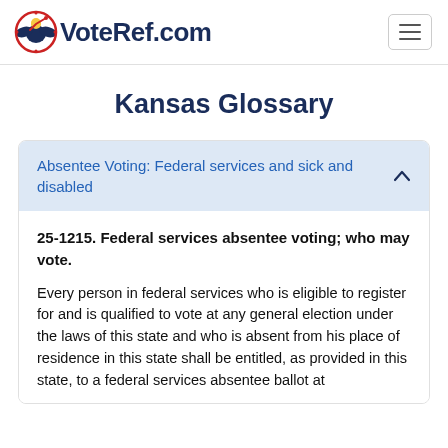VoteRef.com
Kansas Glossary
Absentee Voting: Federal services and sick and disabled
25-1215. Federal services absentee voting; who may vote.

Every person in federal services who is eligible to register for and is qualified to vote at any general election under the laws of this state and who is absent from his place of residence in this state shall be entitled, as provided in this state, to a federal services absentee ballot at